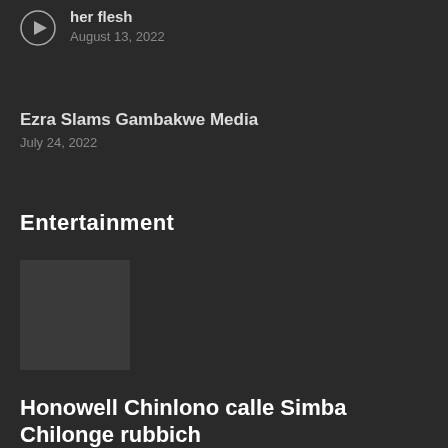[Figure (other): Play button icon for video thumbnail]
her flesh
August 13, 2022
Ezra Slams Gambakwe Media
July 24, 2022
Entertainment
Honowell Chinlono calle Simba Chilonge rubbich